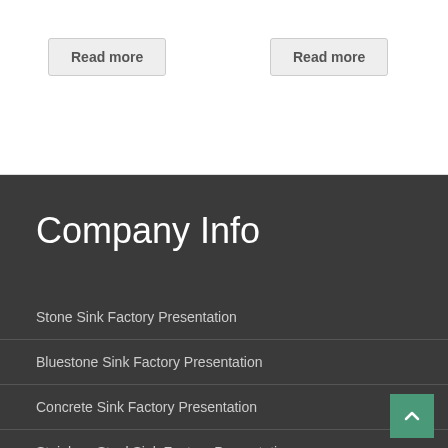Read more
Read more
Company Info
Stone Sink Factory Presentation
Bluestone Sink Factory Presentation
Concrete Sink Factory Presentation
Stainless Steel Sink Factory Presentation